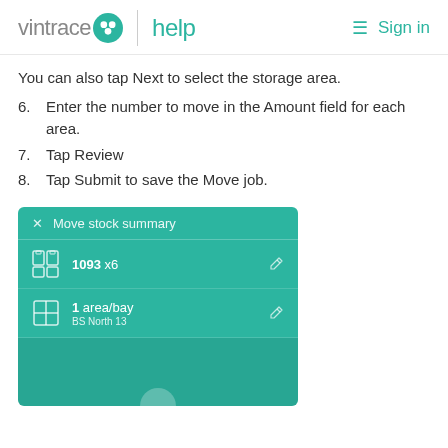vintrace help  Sign in
You can also tap Next to select the storage area.
6. Enter the number to move in the Amount field for each area.
7. Tap Review
8. Tap Submit to save the Move job.
[Figure (screenshot): Mobile app screenshot showing Move stock summary screen with teal background. Shows 1093 x6 bottles entry and 1 area/bay entry with BS North 13 label. Edit icons visible on right side.]